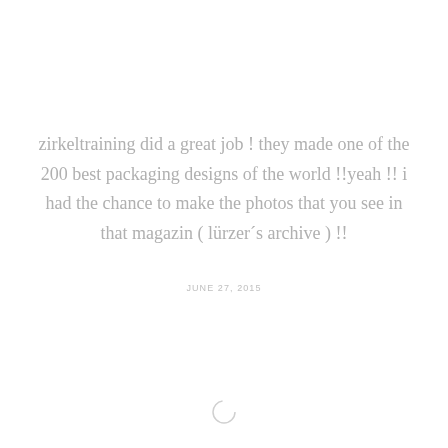zirkeltraining did a great job ! they made one of the 200 best packaging designs of the world !!yeah !! i had the chance to make the photos that you see in that magazin ( lürzer´s archive ) !!
JUNE 27, 2015